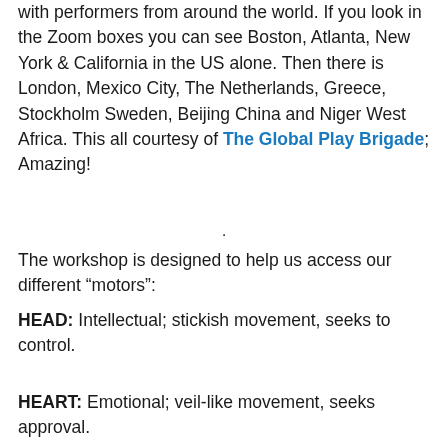with performers from around the world. If you look in the Zoom boxes you can see Boston, Atlanta, New York & California in the US alone. Then there is London, Mexico City, The Netherlands, Greece, Stockholm Sweden, Beijing China and Niger West Africa. This all courtesy of The Global Play Brigade; Amazing!
.
The workshop is designed to help us access our different “motors”:
HEAD: Intellectual; stickish movement, seeks to control.
HEART: Emotional; veil-like movement, seeks approval.